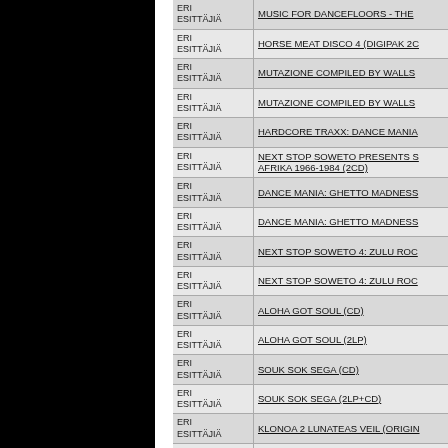| Artist | Title |
| --- | --- |
| ERI ESITTÄJIÄ | MUSIC FOR DANCEFLOORS - THE |
| ERI ESITTÄJIÄ | HORSE MEAT DISCO 4 (DIGIPAK 2C |
| ERI ESITTÄJIÄ | MUTAZIONE COMPILED BY WALLS |
| ERI ESITTÄJIÄ | MUTAZIONE COMPILED BY WALLS |
| ERI ESITTÄJIÄ | HARDCORE TRAXX: DANCE MANIA |
| ERI ESITTÄJIÄ | NEXT STOP SOWETO PRESENTS S AFRIKA 1966-1984 (2CD) |
| ERI ESITTÄJIÄ | DANCE MANIA: GHETTO MADNESS |
| ERI ESITTÄJIÄ | DANCE MANIA: GHETTO MADNESS |
| ERI ESITTÄJIÄ | NEXT STOP SOWETO 4: ZULU ROC |
| ERI ESITTÄJIÄ | NEXT STOP SOWETO 4: ZULU ROC |
| ERI ESITTÄJIÄ | ALOHA GOT SOUL (CD) |
| ERI ESITTÄJIÄ | ALOHA GOT SOUL (2LP) |
| ERI ESITTÄJIÄ | SOUK SOK SEGA (CD) |
| ERI ESITTÄJIÄ | SOUK SOK SEGA (2LP+CD) |
| ERI ESITTÄJIÄ | KLONOA 2 LUNATEAS VEIL (ORIGIN |
| ERI ESITTÄJIÄ | ONE AND ALL, TOGETHER, FOR HO |
| ERI ESITTÄJIÄ | ROCK AND ROLL PILLS (LP) |
| ERI ESITTÄJIÄ | ROCKABILLY TUNES (LP) |